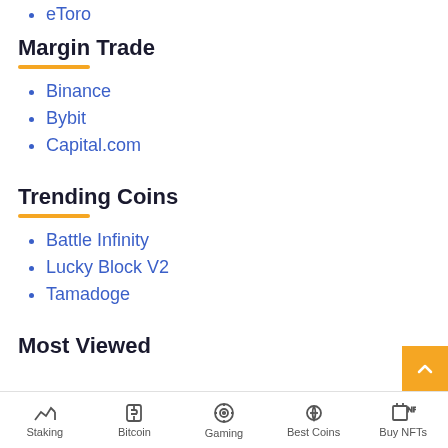eToro
Margin Trade
Binance
Bybit
Capital.com
Trending Coins
Battle Infinity
Lucky Block V2
Tamadoge
Most Viewed
Staking | Bitcoin | Gaming | Best Coins | Buy NFTs